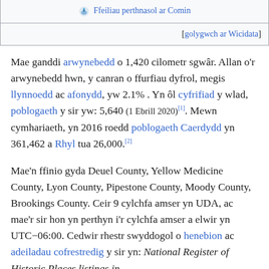| 🔵 Ffeiliau perthnasol ar Comin |
| [golygwch ar Wicidata] |
Mae ganddi arwynebedd o 1,420 cilometr sgwâr. Allan o'r arwynebedd hwn, y canran o ffurfiau dyfrol, megis llynnoedd ac afonydd, yw 2.1% . Yn ôl cyfrifiad y wlad, poblogaeth y sir yw: 5,640 (1 Ebrill 2020)[1]. Mewn cymhariaeth, yn 2016 roedd poblogaeth Caerdydd yn 361,462 a Rhyl tua 26,000.[2]
Mae'n ffinio gyda Deuel County, Yellow Medicine County, Lyon County, Pipestone County, Moody County, Brookings County. Ceir 9 cylchfa amser yn UDA, ac mae'r sir hon yn perthyn i'r cylchfa amser a elwir yn UTC−06:00. Cedwir rhestr swyddogol o henebion ac adeiladau cofrestredig y sir yn: National Register of Historic Places listings in